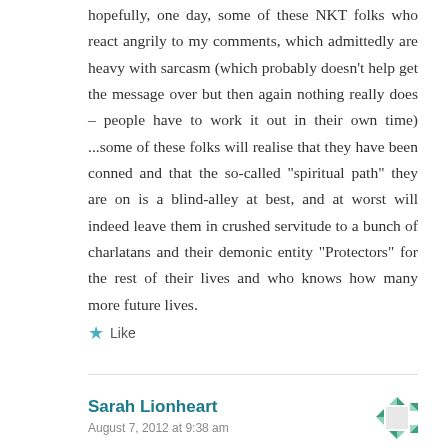hopefully, one day, some of these NKT folks who react angrily to my comments, which admittedly are heavy with sarcasm (which probably doesn't help get the message over but then again nothing really does – people have to work it out in their own time) ...some of these folks will realise that they have been conned and that the so-called "spiritual path" they are on is a blind-alley at best, and at worst will indeed leave them in crushed servitude to a bunch of charlatans and their demonic entity "Protectors" for the rest of their lives and who knows how many more future lives.
★ Like
Sarah Lionheart
August 7, 2012 at 9:38 am